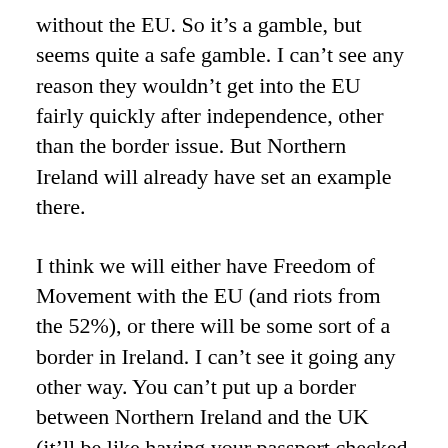without the EU. So it's a gamble, but seems quite a safe gamble. I can't see any reason they wouldn't get into the EU fairly quickly after independence, other than the border issue. But Northern Ireland will already have set an example there.
I think we will either have Freedom of Movement with the EU (and riots from the 52%), or there will be some sort of a border in Ireland. I can't see it going any other way. You can't put up a border between Northern Ireland and the UK (it'll be like having your passport checked to go to Wales). When I was young, 'terrorist' meant 'IRA' in any news story I heard. Since then, things have settled down a